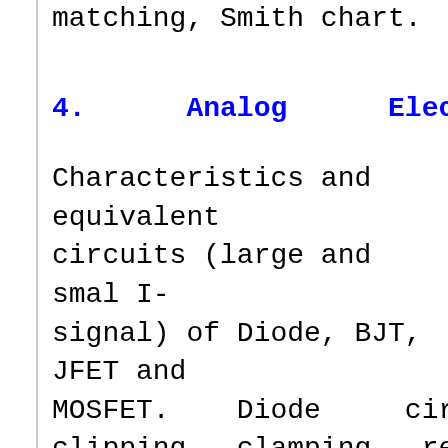matching, Smith chart.
4.      Analog      Electronics:
Characteristics and equivalent circuits (large and smal I-signal) of Diode, BJT, JFET and MOSFET.   Diode     circuits: clipping,  clamping,  rectifier. Biasing and bias stability. FET